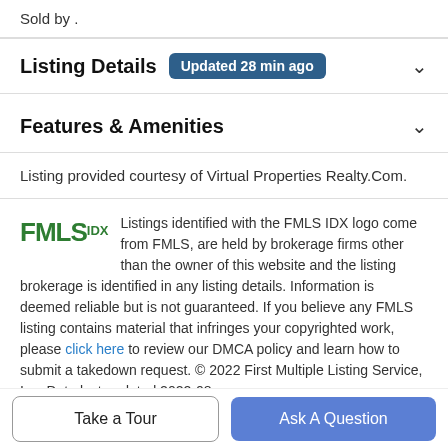Sold by .
Listing Details  Updated 28 min ago
Features & Amenities
Listing provided courtesy of Virtual Properties Realty.Com.
Listings identified with the FMLS IDX logo come from FMLS, are held by brokerage firms other than the owner of this website and the listing brokerage is identified in any listing details. Information is deemed reliable but is not guaranteed. If you believe any FMLS listing contains material that infringes your copyrighted work, please click here to review our DMCA policy and learn how to submit a takedown request. © 2022 First Multiple Listing Service, Inc. Data last updated 2022-08-
Take a Tour
Ask A Question